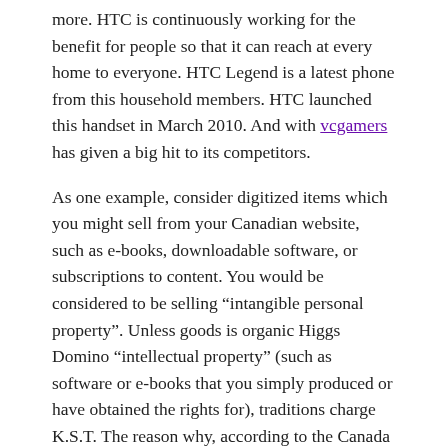more. HTC is continuously working for the benefit for people so that it can reach at every home to everyone. HTC Legend is a latest phone from this household members. HTC launched this handset in March 2010. And with vcgamers has given a big hit to its competitors.
As one example, consider digitized items which you might sell from your Canadian website, such as e-books, downloadable software, or subscriptions to content. You would be considered to be selling “intangible personal property”. Unless goods is organic Higgs Domino “intellectual property” (such as software or e-books that you simply produced or have obtained the rights for), traditions charge K.S.T. The reason why, according to the Canada Revenue Agency, is it COULD be applied inside Canada, even whether it isn’t.
Good hot waxes melt just above body temperature so